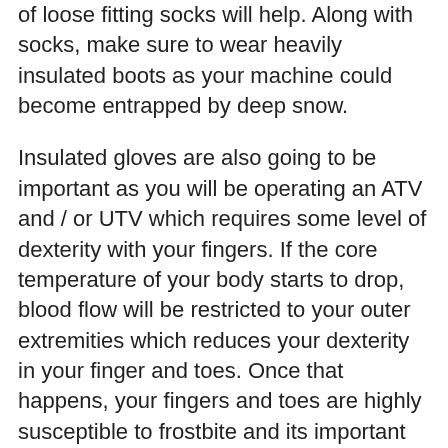of loose fitting socks will help. Along with socks, make sure to wear heavily insulated boots as your machine could become entrapped by deep snow.
Insulated gloves are also going to be important as you will be operating an ATV and / or UTV which requires some level of dexterity with your fingers. If the core temperature of your body starts to drop, blood flow will be restricted to your outer extremities which reduces your dexterity in your finger and toes. Once that happens, your fingers and toes are highly susceptible to frostbite and its important to keep them covered and warm.
Your head protection is also a key element to staying safe. A proper fitting helmet that covers all of your skin around your head and face is the